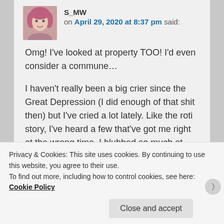S_MW on April 29, 2020 at 8:37 pm said:
Omg! I've looked at property TOO! I'd even consider a commune…

I haven't really been a big crier since the Great Depression (I did enough of that shit then) but I've cried a lot lately. Like the roti story, I've heard a few that've got me right at the wrong time. I blubbed so much at one story my daughter
Privacy & Cookies: This site uses cookies. By continuing to use this website, you agree to their use.
To find out more, including how to control cookies, see here: Cookie Policy